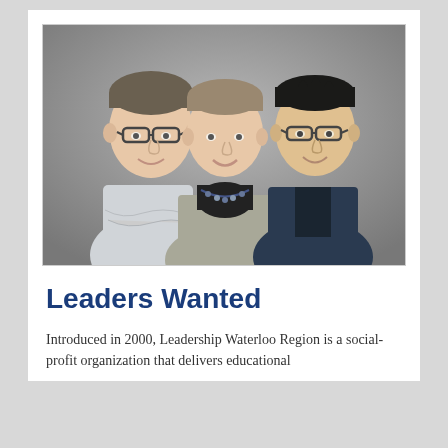[Figure (photo): Three people posing for a professional photo against a gray background. On the left, a tall man with glasses and a light gray shirt with arms crossed. In the center, a woman with a gray jacket and beaded necklace over a black turtleneck. On the right, a man with glasses wearing a dark navy blazer.]
Leaders Wanted
Introduced in 2000, Leadership Waterloo Region is a social-profit organization that delivers educational